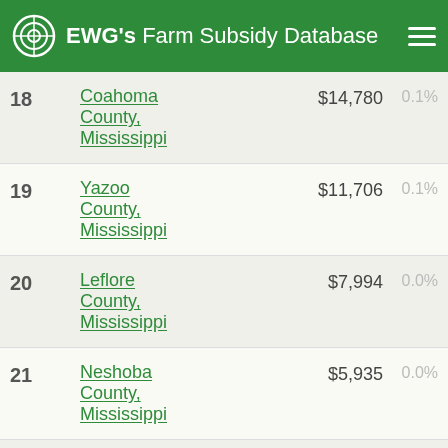EWG's Farm Subsidy Database
| Rank | County | Amount | Pct |
| --- | --- | --- | --- |
| 18 | Coahoma County, Mississippi | $14,780 | 0.1% |
| 19 | Yazoo County, Mississippi | $11,706 | 0.1% |
| 20 | Leflore County, Mississippi | $7,994 | 0.0% |
| 21 | Neshoba County, Mississippi | $5,935 | 0.0% |
| 22 | Adams | $4,567 | 0.0% |